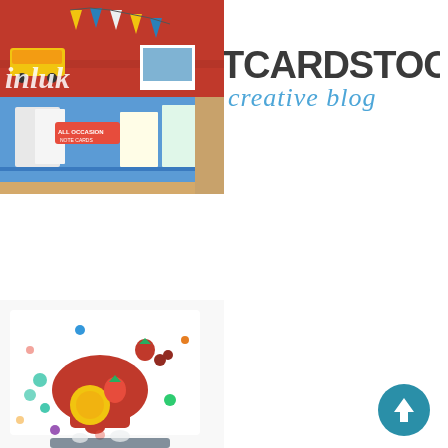[Figure (logo): The CutCardStock Creative Blog logo with chevron/arrow icon in blue and dark grey text]
[Figure (photo): Craft scrapbook page with red background, school bus, bunting flags, and cursive text 'inluk']
[Figure (photo): Blue organizer box with cards and stationery, all-occasion card set visible]
[Figure (photo): Craft card with food-themed die cuts including strawberries, blueberries, and colorful embellishments on white background]
[Figure (illustration): Round teal scroll-to-top button with white upward arrow]